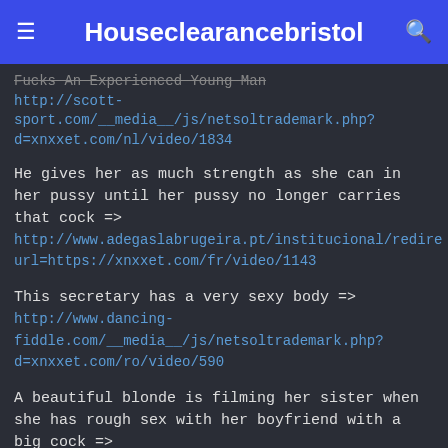Houseclearancebristol
Fucks An Experienced Young Man http://scott-sport.com/__media__/js/netsoltrademark.php?d=xnxxet.com/nl/video/1834
He gives her as much strength as she can in her pussy until her pussy no longer carries that cock => http://www.adegaslabrugeira.pt/institucional/redirect=https://xnxxet.com/fr/video/1143
This secretary has a very sexy body => http://www.dancing-fiddle.com/__media__/js/netsoltrademark.php?d=xnxxet.com/ro/video/590
A beautiful blonde is filming her sister when she has rough sex with her boyfriend with a big cock => http://www.rtgreens.com/__media__/js/netsoltrade d=xnxxet.com/fi/video/1689